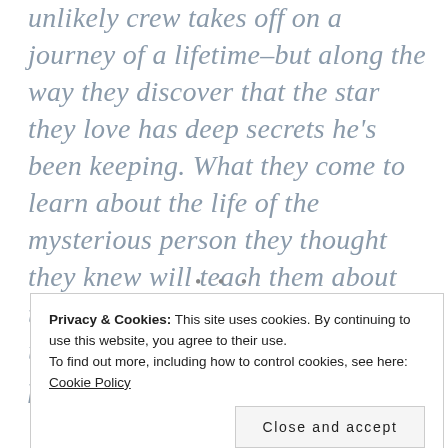unlikely crew takes off on a journey of a lifetime–but along the way they discover that the star they love has deep secrets he's been keeping. What they come to learn about the life of the mysterious person they thought they knew will teach them about the power of empathy and the unbreakable bond of true friendship.
• • •
Privacy & Cookies: This site uses cookies. By continuing to use this website, you agree to their use.
To find out more, including how to control cookies, see here:
Cookie Policy
Close and accept